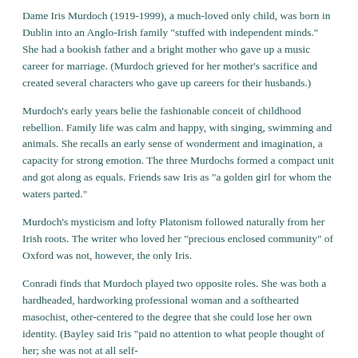Dame Iris Murdoch (1919-1999), a much-loved only child, was born in Dublin into an Anglo-Irish family "stuffed with independent minds." She had a bookish father and a bright mother who gave up a music career for marriage. (Murdoch grieved for her mother's sacrifice and created several characters who gave up careers for their husbands.)
Murdoch's early years belie the fashionable conceit of childhood rebellion. Family life was calm and happy, with singing, swimming and animals. She recalls an early sense of wonderment and imagination, a capacity for strong emotion. The three Murdochs formed a compact unit and got along as equals. Friends saw Iris as "a golden girl for whom the waters parted."
Murdoch's mysticism and lofty Platonism followed naturally from her Irish roots. The writer who loved her "precious enclosed community" of Oxford was not, however, the only Iris.
Conradi finds that Murdoch played two opposite roles. She was both a hardheaded, hardworking professional woman and a softhearted masocist, other-centered to the degree that she could lose her own identity. (Bayley said Iris "paid no attention to what people thought of her; she was not at all self-